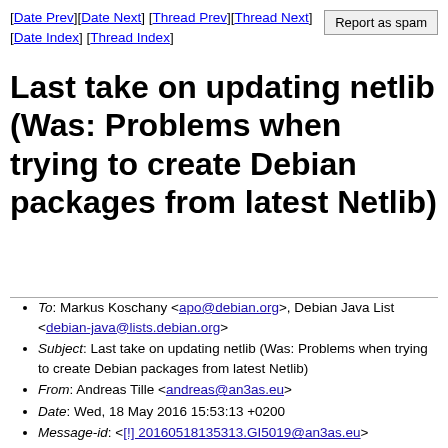[Date Prev][Date Next] [Thread Prev][Thread Next] [Date Index] [Thread Index]
Last take on updating netlib (Was: Problems when trying to create Debian packages from latest Netlib)
To: Markus Koschany <apo@debian.org>, Debian Java List <debian-java@lists.debian.org>
Subject: Last take on updating netlib (Was: Problems when trying to create Debian packages from latest Netlib)
From: Andreas Tille <andreas@an3as.eu>
Date: Wed, 18 May 2016 15:53:13 +0200
Message-id: <[!] 20160518135313.GI5019@an3as.eu>
In-reply-to: <5732FF15.20301@debian.org>
References: <20160511091950.GD6707@an3as.eu> <5732FF15.20301@debian.org>